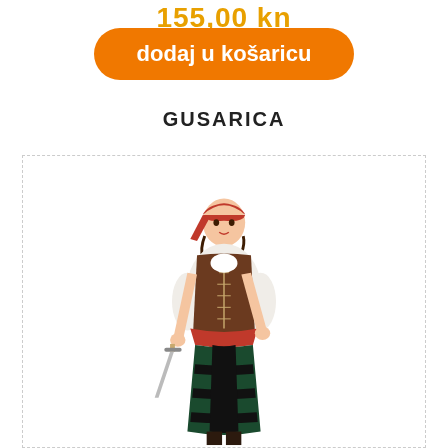155,00 kn
dodaj u košaricu
GUSARICA
[Figure (photo): Woman wearing a pirate costume (gusarica) with red bandana, brown vest, white blouse, red sash, striped skirt, and holding a sword.]